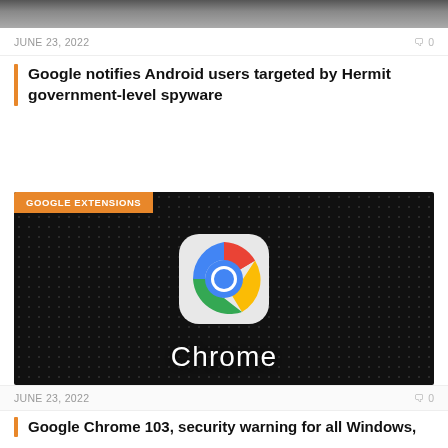[Figure (photo): Top strip of a news article image, partially cropped at the top of the page]
JUNE 23, 2022   🗨 0
Google notifies Android users targeted by Hermit government-level spyware
Security Researchers at Lookout recently linked previously unattributed Android mobile spyware, dubbed Hermit, to Italian...
[Figure (photo): Google Chrome app icon on a dark dotted background with the word Chrome displayed below in white text. Badge reading GOOGLE EXTENSIONS overlaid top-left.]
JUNE 23, 2022   🗨 0
Google Chrome 103, security warning for all Windows,